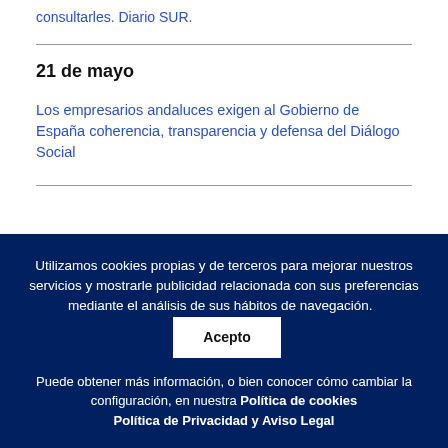consultarles. Diario SUR.
21 de mayo
Los empresarios andaluces exigen al Gobierno de España coherencia, transparencia y defensa del Diálogo Social
Utilizamos cookies propias y de terceros para mejorar nuestros servicios y mostrarle publicidad relacionada con sus preferencias mediante el análisis de sus hábitos de navegación. Acepto Puede obtener más información, o bien conocer cómo cambiar la configuración, en nuestra Política de cookies Política de Privacidad y Aviso Legal